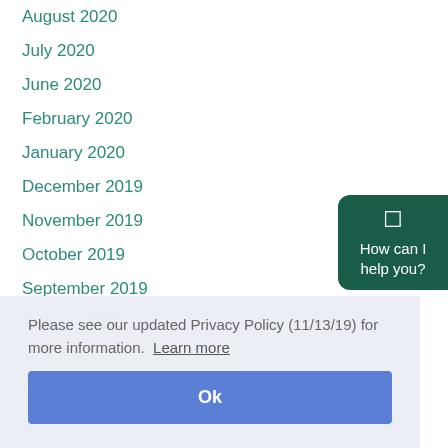August 2020
July 2020
June 2020
February 2020
January 2020
December 2019
November 2019
October 2019
September 2019
August 2019
July 2019
May
November 2018
October 2018
September 2018
Please see our updated Privacy Policy (11/13/19) for more information. Learn more
Ok